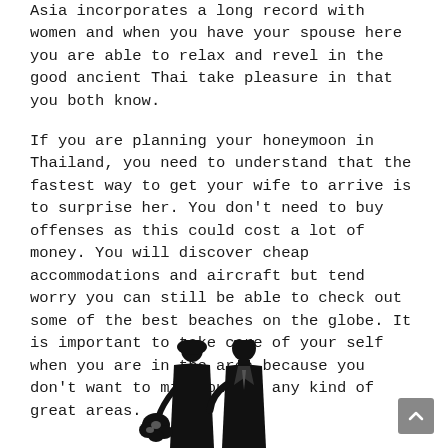Asia incorporates a long record with women and when you have your spouse here you are able to relax and revel in the good ancient Thai take pleasure in that you both know.
If you are planning your honeymoon in Thailand, you need to understand that the fastest way to get your wife to arrive is to surprise her. You don't need to buy offenses as this could cost a lot of money. You will discover cheap accommodations and aircraft but tend worry you can still be able to check out some of the best beaches on the globe. It is important to take care of your self when you are in the area because you don't want to miss out on any kind of great areas.
[Figure (illustration): Black silhouette of a bride and groom couple facing each other, the bride holding a bouquet of flowers]